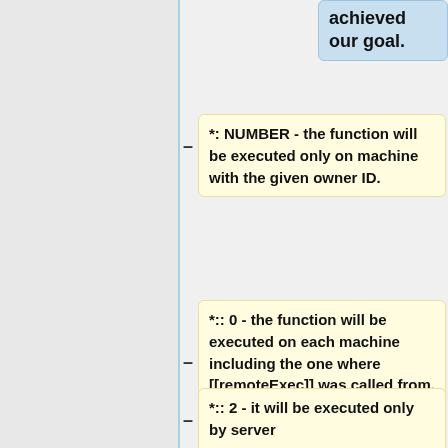achieved our goal.
*: NUMBER - the function will be executed only on machine with the given owner ID.
*:: 0 - the function will be executed on each machine including the one where [[remoteExec]] was called from.
*:: 2 - it will be executed only by server